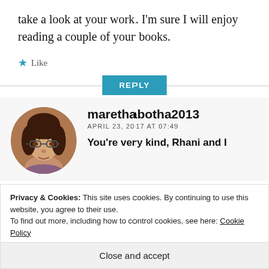take a look at your work. I'm sure I will enjoy reading a couple of your books.
Like
REPLY
[Figure (photo): Circular profile photo of a woman with dark hair and glasses]
marethabotha2013
APRIL 23, 2017 AT 07:49
You're very kind, Rhani and I
Privacy & Cookies: This site uses cookies. By continuing to use this website, you agree to their use.
To find out more, including how to control cookies, see here: Cookie Policy
Close and accept
these books has been harrowing and this